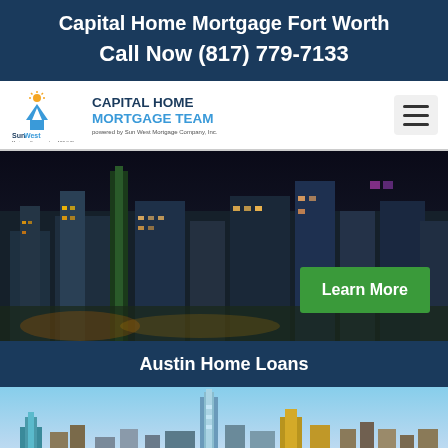Capital Home Mortgage Fort Worth
Call Now (817) 779-7133
[Figure (logo): SunWest Mortgage Company logo with Capital Home Mortgage Team branding and hamburger menu icon]
[Figure (photo): Aerial night view of Fort Worth city skyline with illuminated buildings and a Learn More button overlay]
Austin Home Loans
[Figure (photo): Daytime skyline view of Austin, Texas with tall modern buildings against a blue sky]